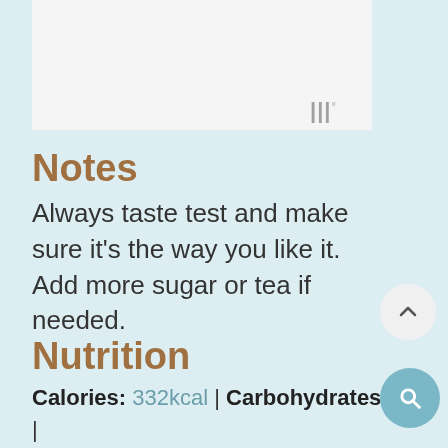[Figure (photo): White/light card area at top of page, partially visible]
Notes
Always taste test and make sure it's the way you like it. Add more sugar or tea if needed.
Nutrition
Calories: 332kcal | Carbohydrates: 48g | Protein: 1g | Fat: 1g | Saturated Fat: 1g | Sodium: 8mg | Potassium: 323mg | Fiber: 1g